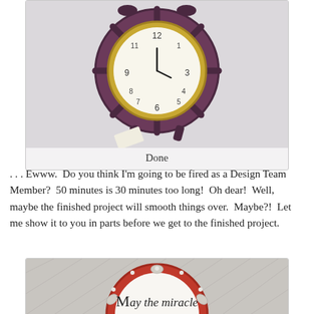[Figure (photo): A ship's wheel style alarm clock with a maroon/purple outer ring and gold inner ring, white clock face with Arabic numerals, sitting on a light grey background. Labeled 'Done' below.]
Done
. . . Ewww.  Do you think I'm going to be fired as a Design Team Member?  50 minutes is 30 minutes too long!  Oh dear!  Well, maybe the finished project will smooth things over.  Maybe?!  Let me show it to you in parts before we get to the finished project.
[Figure (photo): A circular ornament with a red border decorated with clay flowers and pearl beads around the edge. The center reads 'May the miracle' in an elegant serif font on a white background.]